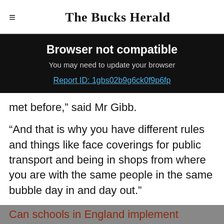The Bucks Herald
[Figure (screenshot): Browser not compatible banner on black background. Text: 'Browser not compatible', 'You may need to update your browser', link 'Report ID: 1gbs02b9g6ck0f9p6fp']
met before,” said Mr Gibb.
“And that is why you have different rules and things like face coverings for public transport and being in shops from where you are with the same people in the same bubble day in and day out.”
Can schools in England implement